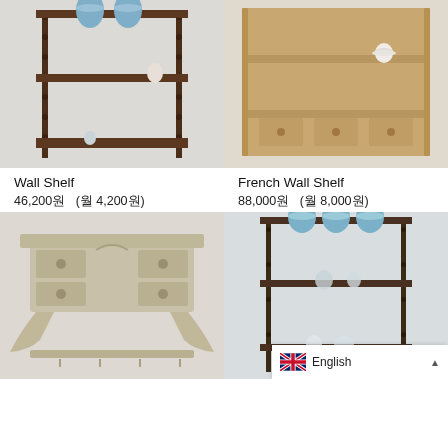[Figure (photo): Dark wooden wall shelf with spindle posts and three shelves, holding blue ceramic jars and a small cup, on a light grey wall.]
[Figure (photo): Light pine wooden wall shelf unit with three shelves and three small drawers, holding a white cup and saucer, on a light grey wall.]
Wall Shelf
46,200원  (월 4,200원)
French Wall Shelf
88,000원  (월 8,000원)
[Figure (photo): Ornate wooden wall shelf with drawers and decorative carved legs in a distressed finish, on a light wall.]
[Figure (photo): Dark metal wall shelf with spindle posts and three shelves displaying blue ceramic canisters and glassware, on a light wall. Overlaid with English language selector bar.]